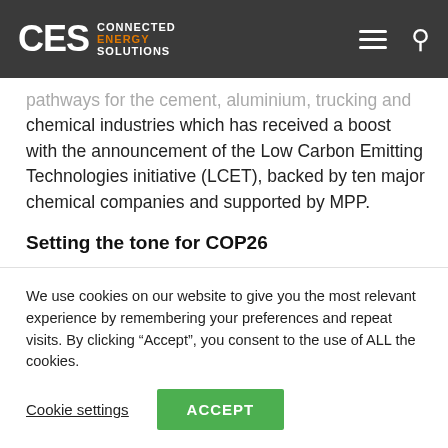CES CONNECTED ENERGY SOLUTIONS
pathways for the cement, aluminium, trucking and chemical industries which has received a boost with the announcement of the Low Carbon Emitting Technologies initiative (LCET), backed by ten major chemical companies and supported by MPP.
Setting the tone for COP26
In addition to industry, the finance sector is also beginning to rise to the challenge. MPP is working
We use cookies on our website to give you the most relevant experience by remembering your preferences and repeat visits. By clicking “Accept”, you consent to the use of ALL the cookies.
Cookie settings
ACCEPT